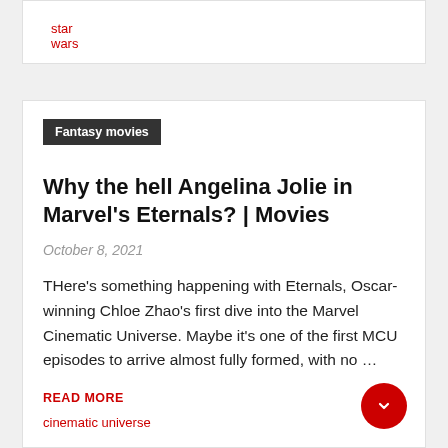star wars
Fantasy movies
Why the hell Angelina Jolie in Marvel's Eternals? | Movies
October 8, 2021
THere's something happening with Eternals, Oscar-winning Chloe Zhao's first dive into the Marvel Cinematic Universe. Maybe it's one of the first MCU episodes to arrive almost fully formed, with no …
READ MORE
cinematic universe